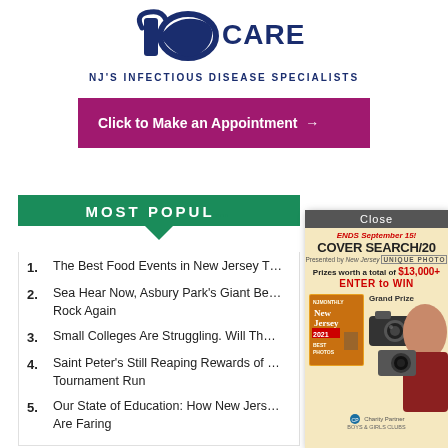[Figure (logo): ID CARE logo with text 'NJ'S INFECTIOUS DISEASE SPECIALISTS']
Click to Make an Appointment →
MOST POPULAR
The Best Food Events in New Jersey T…
Sea Hear Now, Asbury Park's Giant Be… Rock Again
Small Colleges Are Struggling. Will Th…
Saint Peter's Still Reaping Rewards of … Tournament Run
Our State of Education: How New Jers… Are Faring
[Figure (advertisement): Cover Search 2021 advertisement overlay. Ends September 15! COVER SEARCH/20… Presented by New Jersey UNIQUE PHOTO. Prizes worth a total of $13,000+ ENTER to WIN. Grand Prize camera. Charity Partner logo.]